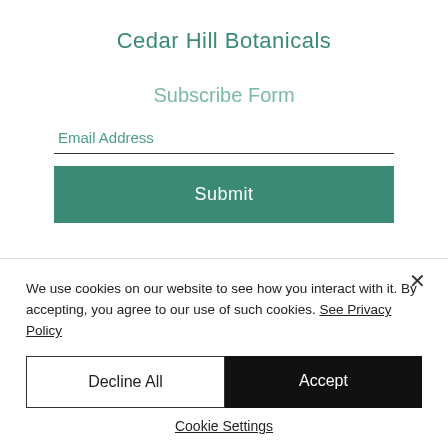Cedar Hill Botanicals
Subscribe Form
Email Address
Submit
We use cookies on our website to see how you interact with it. By accepting, you agree to our use of such cookies. See Privacy Policy
Decline All
Accept
Cookie Settings